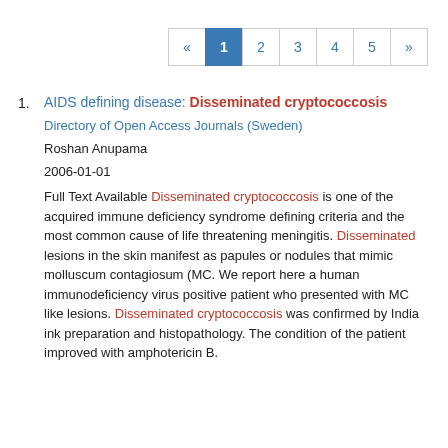« 1 2 3 4 5 »
1. AIDS defining disease: Disseminated cryptococcosis
Directory of Open Access Journals (Sweden)
Roshan Anupama
2006-01-01
Full Text Available Disseminated cryptococcosis is one of the acquired immune deficiency syndrome defining criteria and the most common cause of life threatening meningitis. Disseminated lesions in the skin manifest as papules or nodules that mimic molluscum contagiosum (MC. We report here a human immunodeficiency virus positive patient who presented with MC like lesions. Disseminated cryptococcosis was confirmed by India ink preparation and histopathology. The condition of the patient improved with amphotericin B.